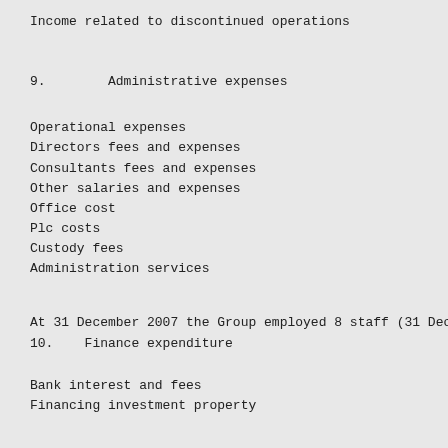Income related to discontinued operations
9.        Administrative expenses
Operational expenses
Directors fees and expenses
Consultants fees and expenses
Other salaries and expenses
Office cost
Plc costs
Custody fees
Administration services
At 31 December 2007 the Group employed 8 staff (31 Dec
10.    Finance expenditure
Bank interest and fees
Financing investment property